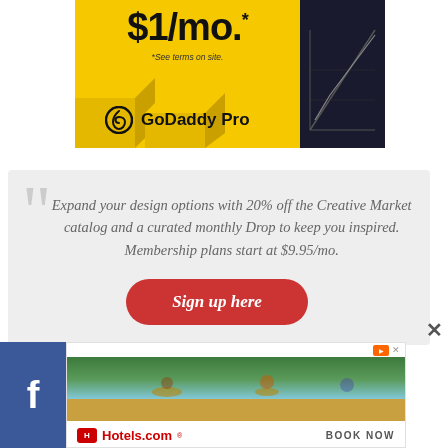[Figure (advertisement): GoDaddy Pro advertisement banner with yellow background showing '$1/mo.*' pricing, '*See terms on site.' disclaimer, and GoDaddy Pro logo with dark geometric shapes]
Expand your design options with 20% off the Creative Market catalog and a curated monthly Drop to keep you inspired. Membership plans start at $9.95/mo.
Sign up here
[Figure (advertisement): Hotels.com advertisement banner with beach/vacation photo and 'BOOK NOW' call to action]